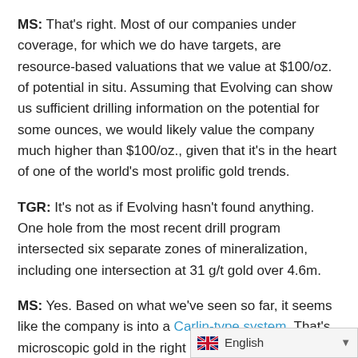MS: That's right. Most of our companies under coverage, for which we do have targets, are resource-based valuations that we value at $100/oz. of potential in situ. Assuming that Evolving can show us sufficient drilling information on the potential for some ounces, we would likely value the company much higher than $100/oz., given that it's in the heart of one of the world's most prolific gold trends.
TGR: It's not as if Evolving hasn't found anything. One hole from the most recent drill program intersected six separate zones of mineralization, including one intersection at 31 g/t gold over 4.6m.
MS: Yes. Based on what we've seen so far, it seems like the company is into a Carlin-type system. That's microscopic gold in the right kinds of rocks, such as muddy limestones and siltstones. But, Evolving Gold demonstrated those kinds of gra...